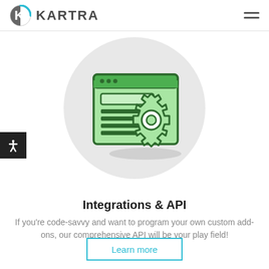KARTRA
[Figure (illustration): Circular gray background with a green icon of a web browser window containing a form with horizontal lines, overlaid with a green gear/settings cog icon.]
Integrations & API
If you're code-savvy and want to program your own custom add-ons, our comprehensive API will be your play field!
Learn more